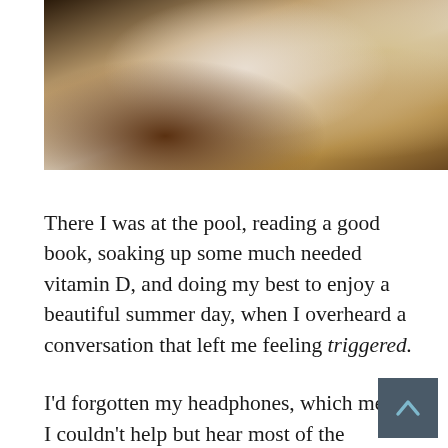[Figure (photo): Partial photo of a person at what appears to be an outdoor pool or patio area, with potted plants visible on the right side and a white door or wall in the background.]
There I was at the pool, reading a good book, soaking up some much needed vitamin D, and doing my best to enjoy a beautiful summer day, when I overheard a conversation that left me feeling triggered.
I'd forgotten my headphones, which means I couldn't help but hear most of the conversation going on between the ladies seated next to me. They were discussing a woman they know